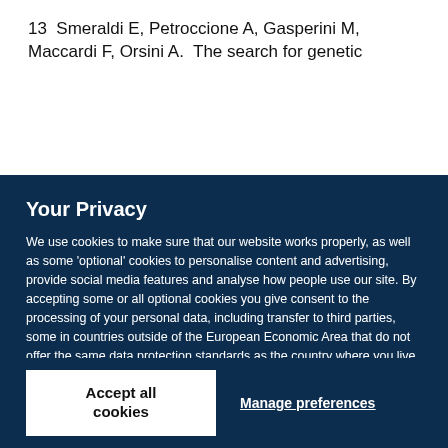13  Smeraldi E, Petroccione A, Gasperini M, Maccardi F, Orsini A.  The search for genetic...
Your Privacy
We use cookies to make sure that our website works properly, as well as some 'optional' cookies to personalise content and advertising, provide social media features and analyse how people use our site. By accepting some or all optional cookies you give consent to the processing of your personal data, including transfer to third parties, some in countries outside of the European Economic Area that do not offer the same data protection standards as the country where you live. You can decide which optional cookies to accept by clicking on 'Manage Settings', where you can also find more information about how your personal data is processed. Further information can be found in our privacy policy.
Accept all cookies
Manage preferences